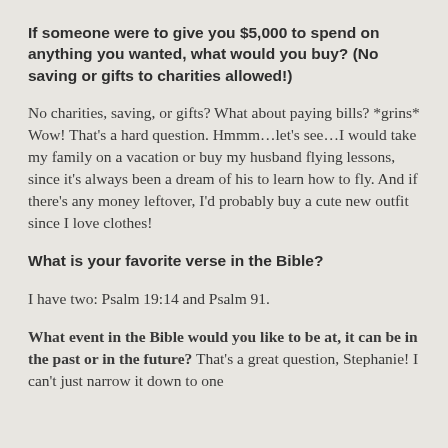If someone were to give you $5,000 to spend on anything you wanted, what would you buy? (No saving or gifts to charities allowed!)
No charities, saving, or gifts? What about paying bills? *grins* Wow! That's a hard question. Hmmm…let's see…I would take my family on a vacation or buy my husband flying lessons, since it's always been a dream of his to learn how to fly. And if there's any money leftover, I'd probably buy a cute new outfit since I love clothes!
What is your favorite verse in the Bible?
I have two: Psalm 19:14 and Psalm 91.
What event in the Bible would you like to be at, it can be in the past or in the future?
That's a great question, Stephanie! I can't just narrow it down to one